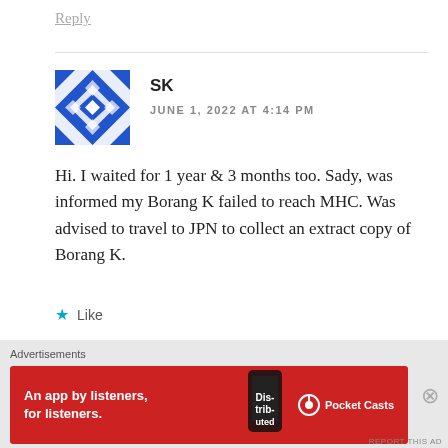Reply
SK
JUNE 1, 2022 AT 4:14 PM
[Figure (illustration): Blue and white geometric snowflake/quilt pattern avatar icon]
Hi. I waited for 1 year & 3 months too. Sady, was informed my Borang K failed to reach MHC. Was advised to travel to JPN to collect an extract copy of Borang K.
Like
Reply
Advertisements
[Figure (screenshot): Red Pocket Casts advertisement banner: An app by listeners, for listeners.]